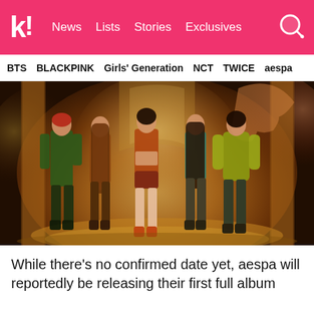k! News Lists Stories Exclusives
BTS  BLACKPINK  Girls' Generation  NCT  TWICE  aespa
[Figure (photo): Four animated/illustrated K-pop female group members (aespa) posing in front of a fantastical glowing background with ornate golden and silver architectural elements. The members wear colorful outfits including dark green, brown corset, rust shorts, and teal/yellow-green.]
While there's no confirmed date yet, aespa will reportedly be releasing their first full album